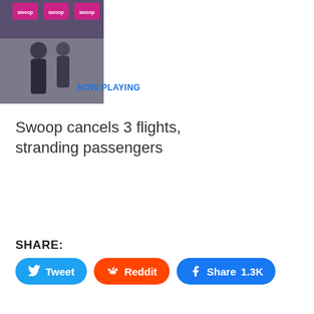[Figure (photo): Thumbnail image of airport/airline scene with pink Swoop airline signage visible, people in foreground]
NOW PLAYING
Swoop cancels 3 flights, stranding passengers
SHARE:
Tweet
Reddit
Share 1.3K